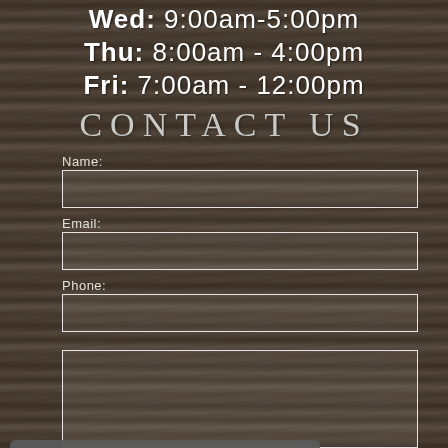Wed: 9:00am-5:00pm
Thu: 8:00am - 4:00pm
Fri: 7:00am - 12:00pm
CONTACT US
Name:
Email:
Phone:
NO DENTAL BENEFITS? WE HAVE YOU COVERED!
Join Our Membership Plan!
LEARN MORE